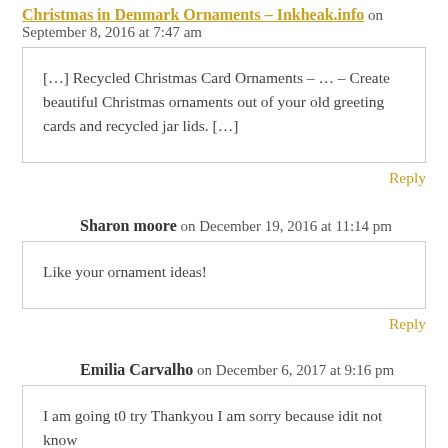Christmas in Denmark Ornaments – Inkheak.info on September 8, 2016 at 7:47 am
[…] Recycled Christmas Card Ornaments – … – Create beautiful Christmas ornaments out of your old greeting cards and recycled jar lids. […]
Reply
Sharon moore on December 19, 2016 at 11:14 pm
Like your ornament ideas!
Reply
Emilia Carvalho on December 6, 2017 at 9:16 pm
I am going t0 try Thankyou I am sorry because idit not know